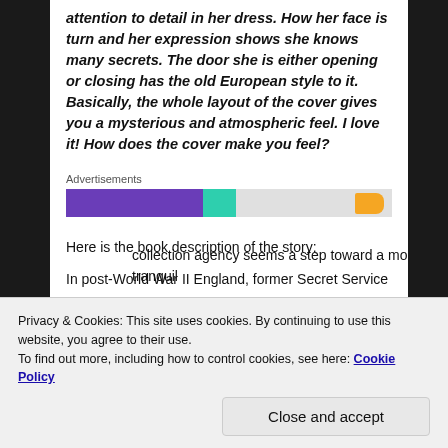attention to detail in her dress. How her face is turn and her expression shows she knows many secrets. The door she is either opening or closing has the old European style to it. Basically, the whole layout of the cover gives you a mysterious and atmospheric feel. I love it! How does the cover make you feel?
[Figure (infographic): Advertisements bar with purple, teal, and orange segments on a light grey background]
Here is the book description of the story:
In post-World War II England, former Secret Service
collection agency seems a step toward a more tranquil
Privacy & Cookies: This site uses cookies. By continuing to use this website, you agree to their use.
To find out more, including how to control cookies, see here: Cookie Policy
Close and accept